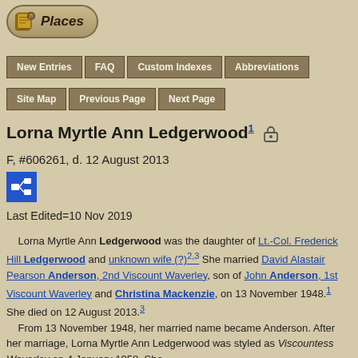[Figure (logo): Places logo with scroll/book icon and italic bold text 'Places' on a tan rounded pill button]
New Entries | FAQ | Custom Indexes | Abbreviations | Site Map | Previous Page | Next Page
Lorna Myrtle Ann Ledgerwood1 [lock icon]
F, #606261, d. 12 August 2013
Last Edited=10 Nov 2019
Lorna Myrtle Ann Ledgerwood was the daughter of Lt.-Col. Frederick Hill Ledgerwood and unknown wife (?)2,3 She married David Alastair Pearson Anderson, 2nd Viscount Waverley, son of John Anderson, 1st Viscount Waverley and Christina Mackenzie, on 13 November 1948.1 She died on 12 August 2013.3 From 13 November 1948, her married name became Anderson. After her marriage, Lorna Myrtle Ann Ledgerwood was styled as Viscountess Waverley on 4 January 1958. She